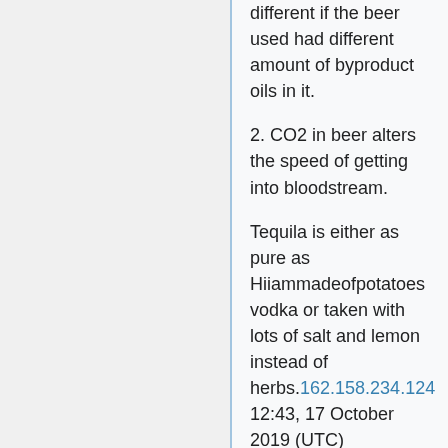different if the beer used had different amount of byproduct oils in it.
2. CO2 in beer alters the speed of getting into bloodstream.
Tequila is either as pure as Hiiammadeofpotatoes vodka or taken with lots of salt and lemon instead of herbs.162.158.234.124 12:43, 17 October 2019 (UTC)
henry louis gates is *the guy* who made the documentaries i am forced to watch in school. never connected that to this comic, mostly because his name isnt mentioned in the